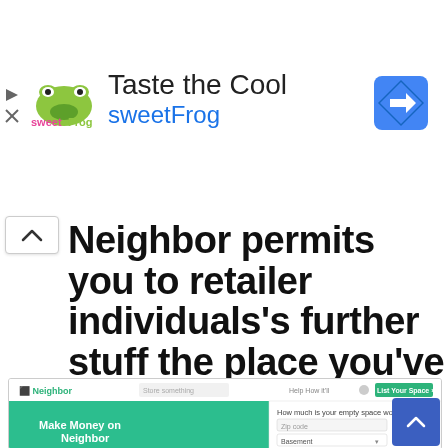[Figure (screenshot): Advertisement banner for sweetFrog: 'Taste the Cool sweetFrog' with sweetFrog logo and a blue Google Maps-style direction icon on the right. Navigation controls (play/close) on far left.]
Neighbor permits you to retailer individuals's further stuff the place you've gotten house for it.
[Figure (screenshot): Screenshot of the Neighbor.com website showing 'Make Money on Neighbor' with a teal/green hero background, text 'Rent out your unused space to store your neighbors belongings. It's easy, safe, and free.' On the right side: 'How much is your empty space worth?' with a dropdown showing 'Basement' and '$3,444 a year' in teal text. A blue scroll-to-top button in lower right.]